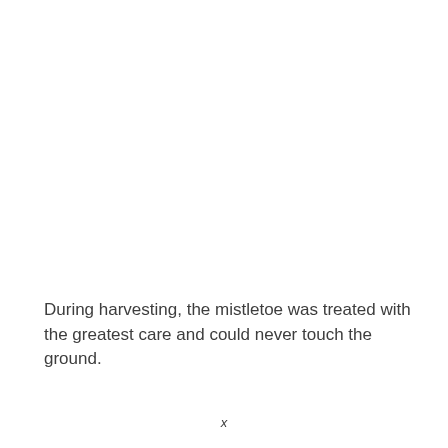During harvesting, the mistletoe was treated with the greatest care and could never touch the ground.
x